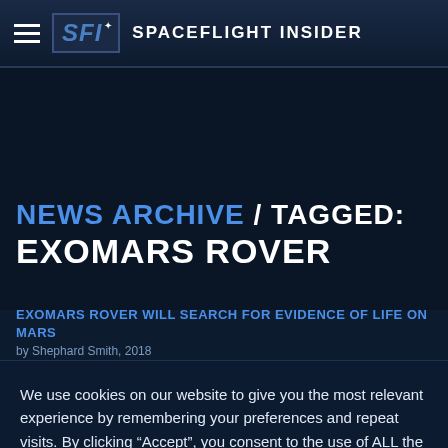SFI Spaceflight Insider
NEWS ARCHIVE / TAGGED: EXOMARS ROVER
EXOMARS ROVER WILL SEARCH FOR EVIDENCE OF LIFE ON MARS
We use cookies on our website to give you the most relevant experience by remembering your preferences and repeat visits. By clicking “Accept”, you consent to the use of ALL the cookies.
Privacy Policy  ACCEPT